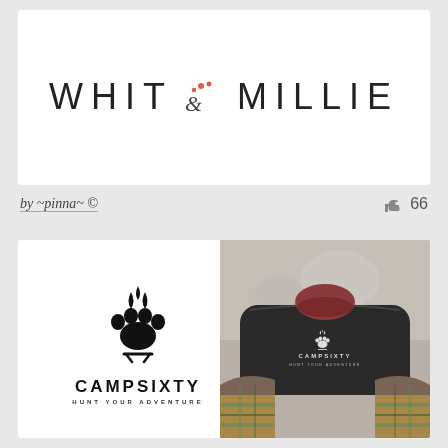[Figure (logo): Whit & Millie logo with stylized paw print and heart ampersand on white background card]
by ~pinna~ ©
66
[Figure (logo): CampSixty logo with bear paw and campfire icon, text CAMPSIXTY HUNT YOUR ADVENTURE, plus a photo of person holding dark bag with CampSixty branding]